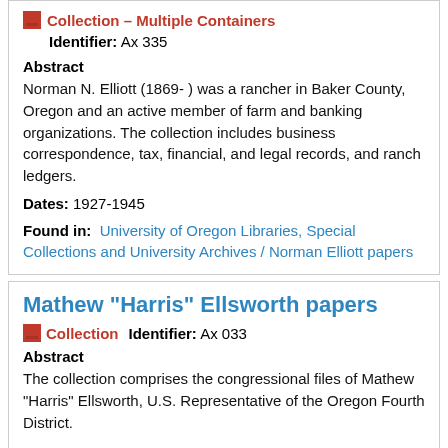Collection – Multiple Containers
Identifier: Ax 335
Abstract
Norman N. Elliott (1869- ) was a rancher in Baker County, Oregon and an active member of farm and banking organizations. The collection includes business correspondence, tax, financial, and legal records, and ranch ledgers.
Dates: 1927-1945
Found in: University of Oregon Libraries, Special Collections and University Archives / Norman Elliott papers
Mathew "Harris" Ellsworth papers
Collection   Identifier: Ax 033
Abstract
The collection comprises the congressional files of Mathew "Harris" Ellsworth, U.S. Representative of the Oregon Fourth District.